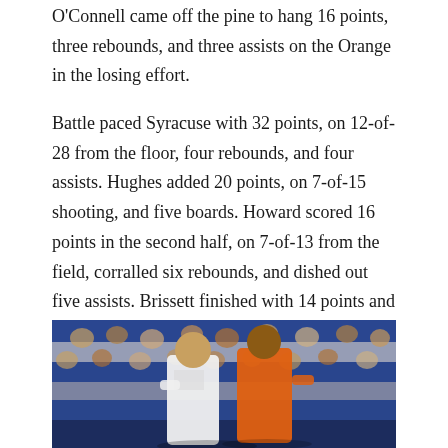O'Connell came off the pine to hang 16 points, three rebounds, and three assists on the Orange in the losing effort.
Battle paced Syracuse with 32 points, on 12-of-28 from the floor, four rebounds, and four assists. Hughes added 20 points, on 7-of-15 shooting, and five boards. Howard scored 16 points in the second half, on 7-of-13 from the field, corralled six rebounds, and dished out five assists. Brissett finished with 14 points and eight rebounds, while Chukwu came off the bench and recorded a double-double featuring 10 points, a career-high 18 rebounds, and three blocks.
[Figure (photo): Basketball game photo showing players during a game, one in an orange Syracuse jersey and one in a white home jersey, with a crowd wearing blue and white in the background.]